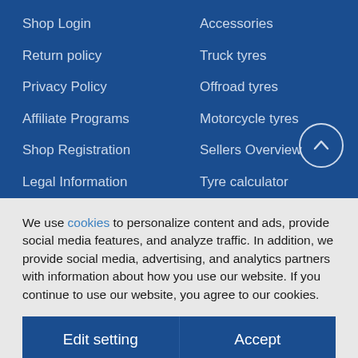Shop Login
Accessories
Return policy
Truck tyres
Privacy Policy
Offroad tyres
Affiliate Programs
Motorcycle tyres
Shop Registration
Sellers Overview
Legal Information
Tyre calculator
Terms and Conditions
Tyre brands
We use cookies to personalize content and ads, provide social media features, and analyze traffic. In addition, we provide social media, advertising, and analytics partners with information about how you use our website. If you continue to use our website, you agree to our cookies.
Edit setting | Accept